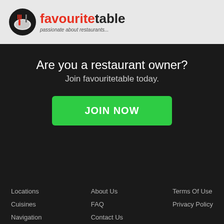[Figure (logo): favouritetable logo with fork/plate icon, text 'favourite' in red and 'table' in dark, tagline 'passionate about restaurants...']
Are you a restaurant owner?
Join favouritetable today.
JOIN NOW
Locations
Cuisines
Navigation
Restaurants Near Me
About Us
FAQ
Contact Us
Restaurant Owner
Terms Of Use
Privacy Policy
[Figure (illustration): Social media icons: Twitter, Facebook, LinkedIn, Instagram in dark grey circles]